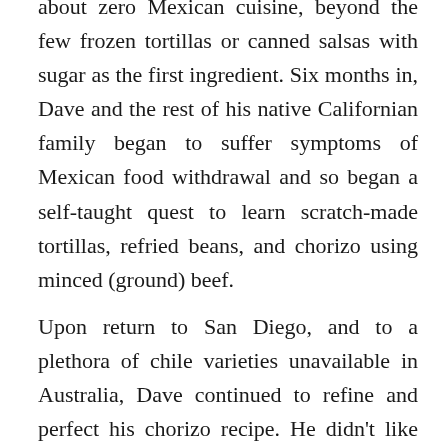about zero Mexican cuisine, beyond the few frozen tortillas or canned salsas with sugar as the first ingredient. Six months in, Dave and the rest of his native Californian family began to suffer symptoms of Mexican food withdrawal and so began a self-taught quest to learn scratch-made tortillas, refried beans, and chorizo using minced (ground) beef.
Upon return to San Diego, and to a plethora of chile varieties unavailable in Australia, Dave continued to refine and perfect his chorizo recipe. He didn't like that grocery store chorizo contained pig parts he didn't really want to think about eating, or that the stuff was 40% grease. Home made, ground